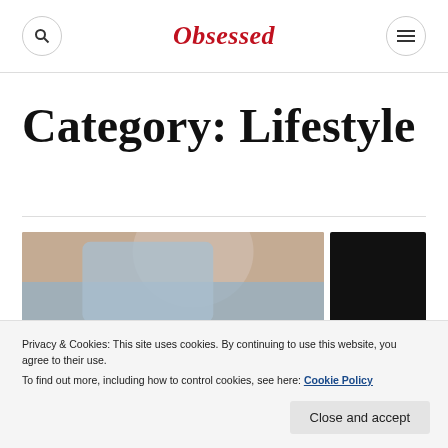Obsessed
Category: Lifestyle
[Figure (photo): Photo of a person in a light blue shirt partially visible on left, and a dark/black image on the right]
Privacy & Cookies: This site uses cookies. By continuing to use this website, you agree to their use.
To find out more, including how to control cookies, see here: Cookie Policy
Close and accept